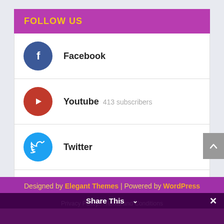FOLLOW US
Facebook
Youtube 413 subscribers
Twitter
Instagram
Designed by Elegant Themes | Powered by WordPress
Privacy Policy   Terms and Conditions
Share This